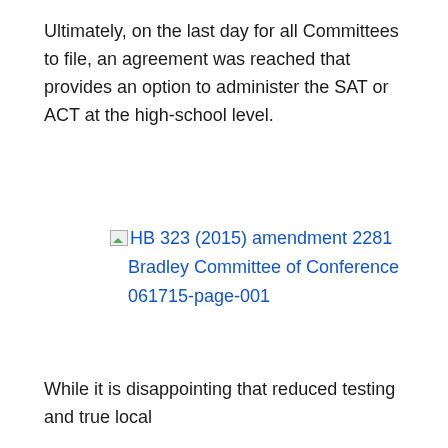Ultimately, on the last day for all Committees to file, an agreement was reached that provides an option to administer the SAT or ACT at the high-school level.
[Figure (other): Broken image link placeholder followed by hyperlink text reading: HB 323 (2015) amendment 2281 Bradley Committee of Conference 061715-page-001]
While it is disappointing that reduced testing and true local